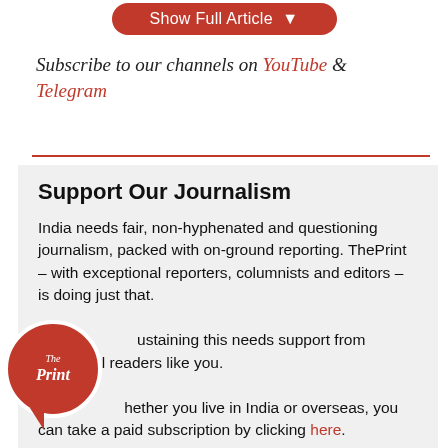[Figure (other): Red rounded button labeled 'Show Full Article' with dropdown arrow, partially visible at top of page]
Subscribe to our channels on YouTube & Telegram
Support Our Journalism
India needs fair, non-hyphenated and questioning journalism, packed with on-ground reporting. ThePrint – with exceptional reporters, columnists and editors – is doing just that.

Sustaining this needs support from wonderful readers like you.

Whether you live in India or overseas, you can take a paid subscription by clicking here.
[Figure (logo): The Print circular logo in red with white text, with speech bubble tail]
[Figure (other): Red rounded button labeled 'Support Our Journalism' with right arrow circle]